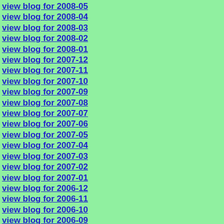view blog for 2008-05
view blog for 2008-04
view blog for 2008-03
view blog for 2008-02
view blog for 2008-01
view blog for 2007-12
view blog for 2007-11
view blog for 2007-10
view blog for 2007-09
view blog for 2007-08
view blog for 2007-07
view blog for 2007-06
view blog for 2007-05
view blog for 2007-04
view blog for 2007-03
view blog for 2007-02
view blog for 2007-01
view blog for 2006-12
view blog for 2006-11
view blog for 2006-10
view blog for 2006-09
view blog for 2006-08
view blog for 2006-07
view blog for 2006-06
view blog for 2006-05